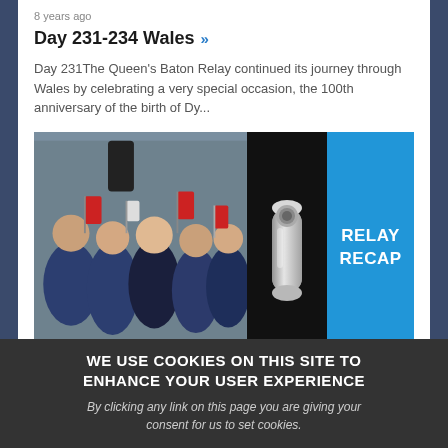8 years ago
Day 231-234 Wales  »
Day 231The Queen's Baton Relay continued its journey through Wales by celebrating a very special occasion, the 100th anniversary of the birth of Dy...
[Figure (photo): Left: crowd of children waving flags at an event. Right: Queen's Baton close-up on black background next to a blue panel with white text reading RELAY RECAP]
RELAY RECAP
WE USE COOKIES ON THIS SITE TO ENHANCE YOUR USER EXPERIENCE
By clicking any link on this page you are giving your consent for us to set cookies.